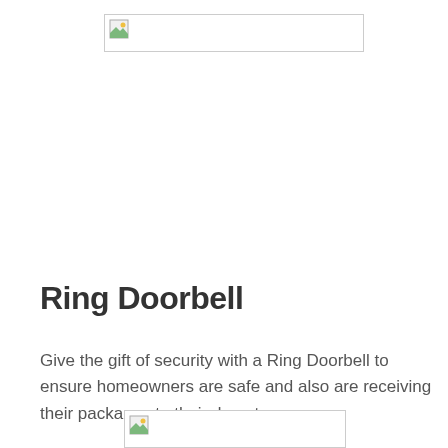[Figure (photo): Image placeholder at top of page (broken/unloaded image)]
Ring Doorbell
Give the gift of security with a Ring Doorbell to ensure homeowners are safe and also are receiving their packages to their doorstep.
[Figure (photo): Image placeholder at bottom of page (broken/unloaded image)]